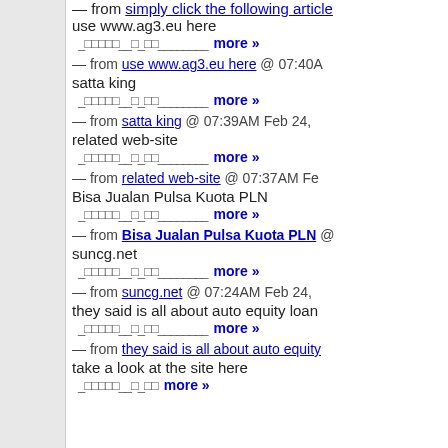— from simply click the following article use www.ag3.eu here
_□□□□□__□_□□________ more »
— from use www.ag3.eu here @ 07:40A
satta king
_□□□□□__□_□□________ more »
— from satta king @ 07:39AM Feb 24,
related web-site
_□□□□□__□_□□________ more »
— from related web-site @ 07:37AM Fe
Bisa Jualan Pulsa Kuota PLN
_□□□□□__□_□□________ more »
— from Bisa Jualan Pulsa Kuota PLN @
suncg.net
_□□□□□__□_□□________ more »
— from suncg.net @ 07:24AM Feb 24,
they said is all about auto equity loan
_□□□□□__□_□□________ more »
— from they said is all about auto equity
take a look at the site here
_□□□□□__□_□□ more »